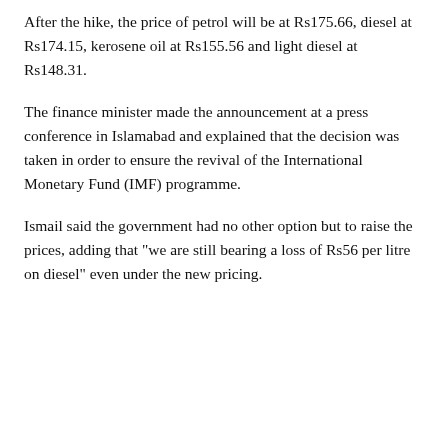After the hike, the price of petrol will be at Rs175.66, diesel at Rs174.15, kerosene oil at Rs155.56 and light diesel at Rs148.31.
The finance minister made the announcement at a press conference in Islamabad and explained that the decision was taken in order to ensure the revival of the International Monetary Fund (IMF) programme.
Ismail said the government had no other option but to raise the prices, adding that "we are still bearing a loss of Rs56 per litre on diesel" even under the new pricing.